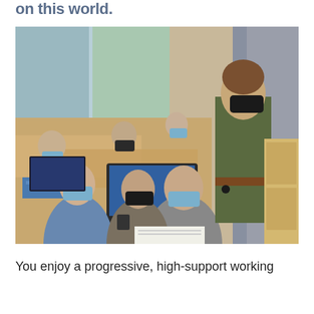on this world.
[Figure (photo): A classroom scene showing students wearing blue face masks working on laptops at wooden desks. A female teacher wearing a black face mask and olive-green wrap dress stands behind them, observing their work. The classroom has large windows with curtains and wooden furniture.]
You enjoy a progressive, high-support working